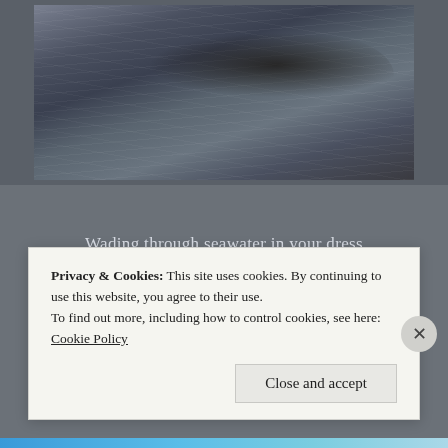[Figure (photo): Woman with dark curly hair floating or lying back in dark water, wearing a white top, with rippling water around her]
Wading through seawater in your dress
Clinging to your delicious curves
Exposing the universe to me
Standing at attention; all my nerves
You're the synonym of this world...
Privacy & Cookies: This site uses cookies. By continuing to use this website, you agree to their use.
To find out more, including how to control cookies, see here: Cookie Policy
Close and accept